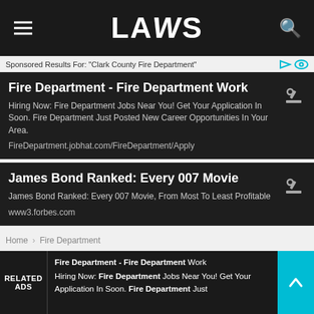LAWS
Sponsored Results For: "Clark County Fire Department"
Fire Department - Fire Department Work
Hiring Now: Fire Department Jobs Near You! Get Your Application In Soon. Fire Department Just Posted New Career Opportunities In Your Area.
FireDepartment.jobhat.com/FireDepartment/Apply
James Bond Ranked: Every 007 Movie
James Bond Ranked: Every 007 Movie, From Most To Least Profitable
www3.forbes.com
Home › Fire Department
Fire Department
RELATED ADS
Fire Department - Fire Department Work
Hiring Now: Fire Department Jobs Near You! Get Your Application In Soon. Fire Department Just